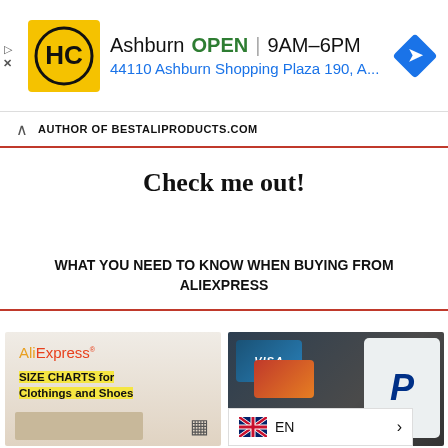[Figure (infographic): Advertisement banner for a hardware/home improvement store (HC logo in yellow) showing location in Ashburn, OPEN status, hours 9AM-6PM, address 44110 Ashburn Shopping Plaza 190, A... with a blue navigation arrow icon]
AUTHOR OF BESTALIPRODUCTS.COM
Check me out!
WHAT YOU NEED TO KNOW WHEN BUYING FROM ALIEXPRESS
[Figure (photo): AliExpress size charts for clothings and shoes promotional image over a cardboard package background]
[Figure (photo): Credit cards (VISA, Mastercard) and a phone showing PayPal logo on a laptop keyboard background]
EN